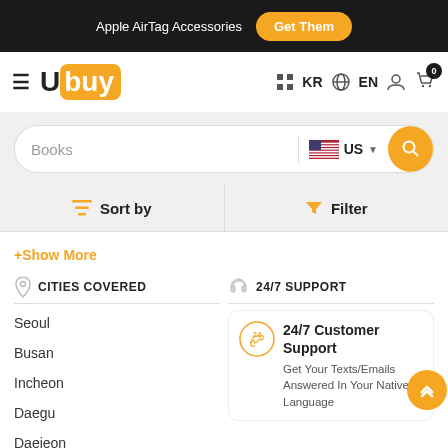Apple AirTag Accessories  Get Them
[Figure (logo): Ubuy logo with orange background on 'buy' letters]
KR  EN
Books  US
Sort by  Filter
+Show More
CITIES COVERED
Seoul
Busan
Incheon
Daegu
Daejeon
24/7 SUPPORT
24/7 Customer Support
Get Your Texts/Emails Answered In Your Native Language
Customer Services